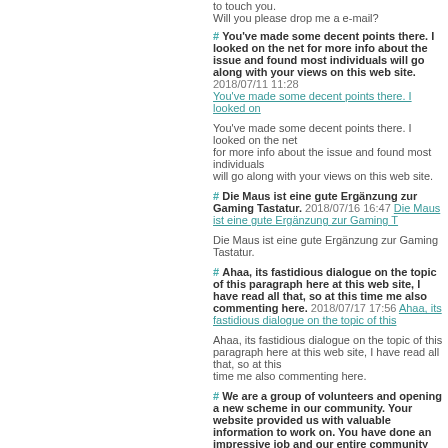to touch you.
Will you please drop me a e-mail?
# You've made some decent points there. I looked on the net for more info about the issue and found most individuals will go along with your views on this web site. 2018/07/11 11:28 You've made some decent points there. I looked on
You've made some decent points there. I looked on the net
for more info about the issue and found most individuals
will go along with your views on this web site.
# Die Maus ist eine gute Ergänzung zur Gaming Tastatur. 2018/07/16 16:47 Die Maus ist eine gute Ergänzung zur Gaming T
Die Maus ist eine gute Ergänzung zur Gaming
Tastatur.
# Ahaa, its fastidious dialogue on the topic of this paragraph here at this web site, I have read all that, so at this time me also commenting here. 2018/07/17 17:56 Ahaa, its fastidious dialogue on the topic of this
Ahaa, its fastidious dialogue on the topic of this paragraph here at this web site, I have read all that, so at this
time me also commenting here.
# We are a group of volunteers and opening a new scheme in our community. Your website provided us with valuable information to work on. You have done an impressive job and our entire community will be grateful to you. 2018/07/18 18:52 We are a group of volunteers